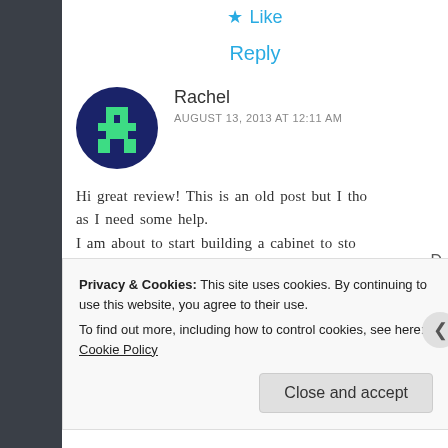★ Like
Reply
[Figure (illustration): Circular dark blue avatar with a green pixel-art character logo (WordPress-style avatar for user Rachel)]
Rachel
AUGUST 13, 2013 AT 12:11 AM
Hi great review! This is an old post but I tho as I need some help. I am about to start building a cabinet to sto in, and this would look awesome on top. Bef searching for one, can you tell me how wide
Privacy & Cookies: This site uses cookies. By continuing to use this website, you agree to their use.
To find out more, including how to control cookies, see here: Cookie Policy
Close and accept